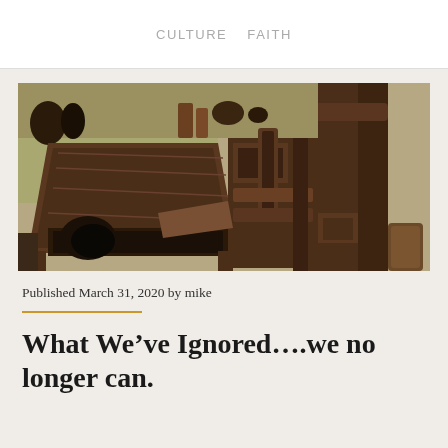CULTURE   FAITH
[Figure (photo): A historic wooden printing press machine photographed in what appears to be a workshop or museum setting, showing the press mechanism with levers, frame, and bed in dark brown wood.]
Published March 31, 2020 by mike
What We've Ignored....we no longer can.